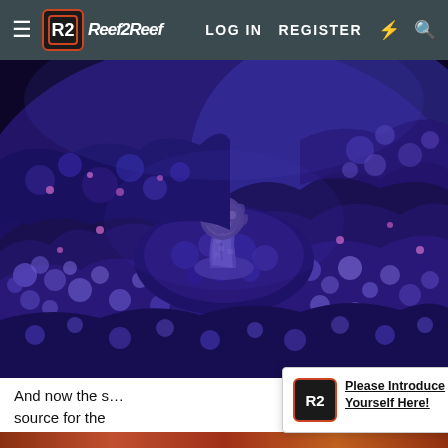LOG IN  REGISTER
[Figure (photo): Close-up underwater photo of coral reef under blue/UV lighting, showing purple and blue coral formations with a tall mushroom-shaped coral or invertebrate in the center on rocky substrate]
And now the s... source for the... rest of him appears to be doing okay though.
Please Introduce Yourself Here!